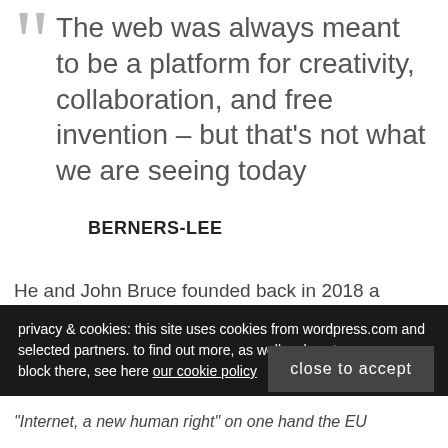The web was always meant to be a platform for creativity, collaboration, and free invention – but that's not what we are seeing today
BERNERS-LEE
He and John Bruce founded back in 2018 a privacy focused company, the main idea is that user can
privacy & cookies: this site uses cookies from wordpress.com and selected partners. to find out more, as well as how to remove or block there, see here our cookie policy
close to accept
"Internet, a new human right" on one hand the EU